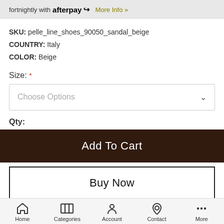fortnightly with afterpay More Info »
SKU: pelle_line_shoes_90050_sandal_beige
COUNTRY: Italy
COLOR: Beige
Size: *
Choose Options
Qty:
Add To Cart
Buy Now
Home  Categories  Account  Contact  More